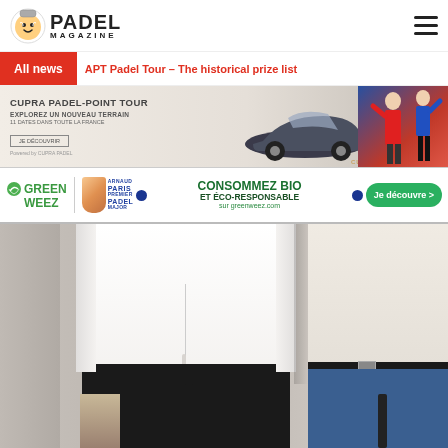[Figure (logo): Padel Magazine logo with icon]
All news | APT Padel Tour – The historical prize list
[Figure (photo): Cupra Padel-Point Tour advertisement banner with car and people]
[Figure (photo): Greenweez Paris Premier Padel Major advertisement banner with Je découvre button]
[Figure (photo): Two men standing, one in white shirt and dark pants, one in beige shirt and jeans holding padel rackets]